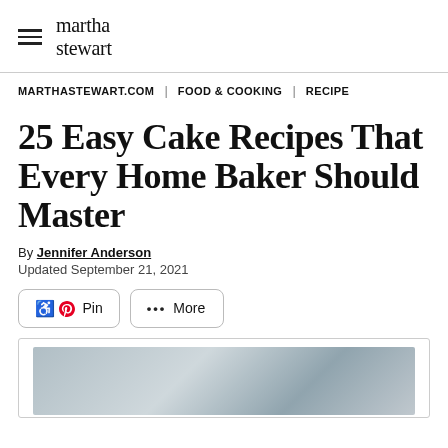martha stewart
MARTHASTEWART.COM | FOOD & COOKING | RECIPE
25 Easy Cake Recipes That Every Home Baker Should Master
By Jennifer Anderson
Updated September 21, 2021
[Figure (screenshot): Share buttons: Pin and More]
[Figure (photo): Partially visible image with blue-grey gradient background, cropped at page bottom]